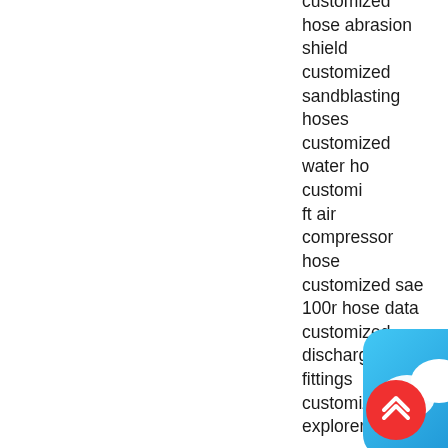customized hose abrasion shield customized sandblasting hoses customized water hose customized ft air compressor hose customized sae 100r hose data customized discharge hose fittings customized ford explorer water hose
[Figure (illustration): Chat widget overlay — a rounded-rectangle blue gradient icon with a white speech bubble icon inside, and a small teal close (x) button in the upper right corner]
[Figure (illustration): Scroll-to-top button — a red circular button with a white double-chevron (up arrow) icon]